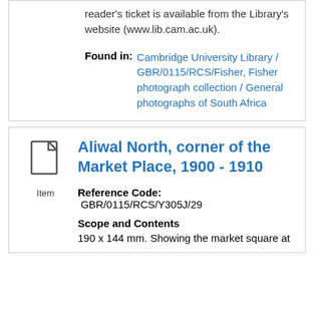reader's ticket is available from the Library's website (www.lib.cam.ac.uk).
Found in: Cambridge University Library / GBR/0115/RCS/Fisher, Fisher photograph collection / General photographs of South Africa
Aliwal North, corner of the Market Place, 1900 - 1910
Reference Code: GBR/0115/RCS/Y305J/29
Scope and Contents
190 x 144 mm. Showing the market square at